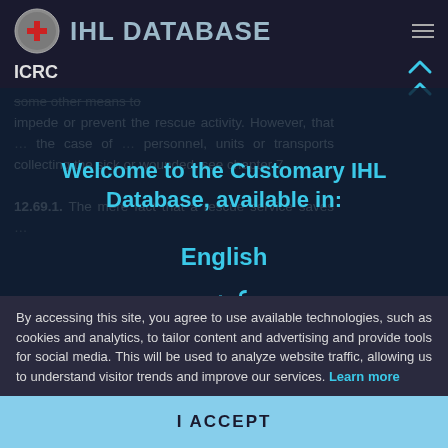IHL DATABASE — ICRC
some other means to impede or prevent the rescue activity. However, that ... the case of ... personnel, units or transports collecting the sick or wounded, see chapter 7.
12.69.1. The mere fact that a rescue service saves ...
Welcome to the Customary IHL Database, available in:
English
عربي
By accessing this site, you agree to use available technologies, such as cookies and analytics, to tailor content and advertising and provide tools for social media. This will be used to analyze website traffic, allowing us to understand visitor trends and improve our services. Learn more
I ACCEPT